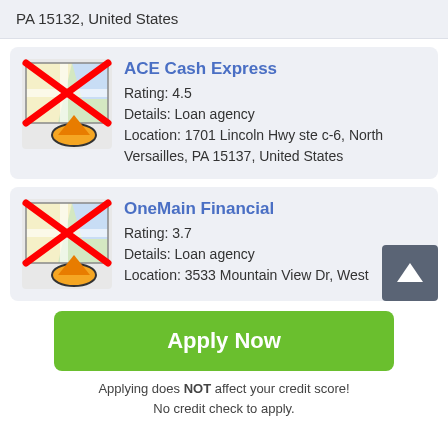PA 15132, United States
ACE Cash Express
Rating: 4.5
Details: Loan agency
Location: 1701 Lincoln Hwy ste c-6, North Versailles, PA 15137, United States
OneMain Financial
Rating: 3.7
Details: Loan agency
Location: 3533 Mountain View Dr, West
Apply Now
Applying does NOT affect your credit score!
No credit check to apply.